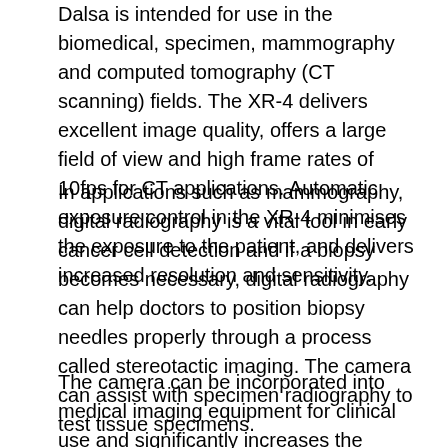Dalsa is intended for use in the biomedical, specimen, mammography and computed tomography (CT scanning) fields. The XR-4 delivers excellent image quality, offers a large field of view and high frame rates of 10fps for CT applications. Automatic exposure control in the XR-4 minimises the exposure to the patient, and delivers increased resolution and sensitivity.
In applications such as mammography, digital radiography is a vital tool in early cancer cell detection and if a biopsy becomes necessary, digital radiography can help doctors to position biopsy needles properly through a process called stereotactic imaging. The camera can assist with specimen radiography to test tissue specimens.
The camera can be incorporated into medical imaging equipment for clinical use and significantly increases the speed and accuracy of stereotactic biopsy needle positioning, spot imaging, CT, and specimen radiography. This in turn decreases patient risk, procedure accuracy, significantly reduces patient discomfort, and speeds the process.